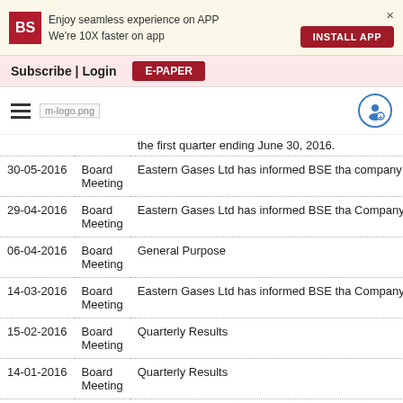Enjoy seamless experience on APP
We're 10X faster on app
INSTALL APP
Subscribe | Login   E-PAPER
[Figure (logo): Hamburger menu icon and m-logo.png with user icon]
| Date | Type | Description |
| --- | --- | --- |
|  |  | the first quarter ending June 30, 2016. |
| 30-05-2016 | Board Meeting | Eastern Gases Ltd has informed BSE tha company will be held on May 30, 2016 to year ended March 31, 2016. |
| 29-04-2016 | Board Meeting | Eastern Gases Ltd has informed BSE tha Company will be held on April 29, 2016 t forthcoming EGM. |
| 06-04-2016 | Board Meeting | General Purpose |
| 14-03-2016 | Board Meeting | Eastern Gases Ltd has informed BSE tha Company will be held on March 14, 2016 forthcoming Extraordinary General Meet |
| 15-02-2016 | Board Meeting | Quarterly Results |
| 14-01-2016 | Board Meeting | Quarterly Results |